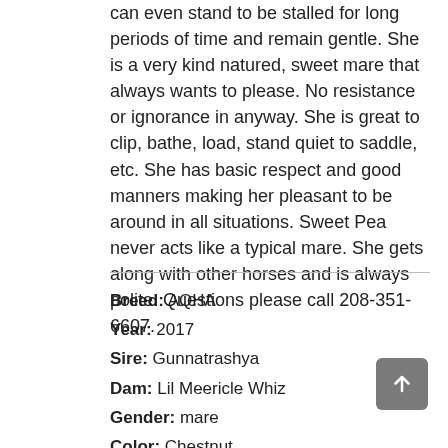can even stand to be stalled for long periods of time and remain gentle. She is a very kind natured, sweet mare that always wants to please. No resistance or ignorance in anyway. She is great to clip, bathe, load, stand quiet to saddle, etc. She has basic respect and good manners making her pleasant to be around in all situations. Sweet Pea never acts like a typical mare. She gets along with other horses and is always polite. Questions please call 208-351-6607.
Breed: AQHA
Year: 2017
Sire: Gunnatrashya
Dam: Lil Meericle Whiz
Gender: mare
Color: Chestnut
Height: 15
Trainer: Three Bar Quarter Horses~Breanna